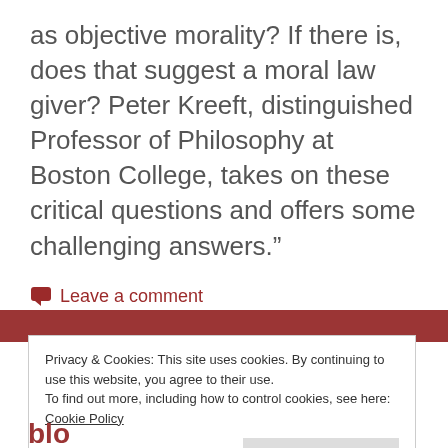as objective morality? If there is, does that suggest a moral law giver? Peter Kreeft, distinguished Professor of Philosophy at Boston College, takes on these critical questions and offers some challenging answers.”
Leave a comment
Privacy & Cookies: This site uses cookies. By continuing to use this website, you agree to their use.
To find out more, including how to control cookies, see here: Cookie Policy